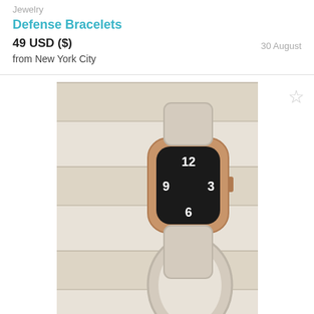Jewelry
Defense Bracelets
49 USD ($)
from New York City
30 August
[Figure (photo): Apple watch displayed on a white surface, showing a clock face with numbers 12, 9, 6, 3. The watch has a gold/rose gold case with a light band. Image count badge showing 5.]
Jewelry
Apple watch
250 USD ($)
from Saint Paul
29 August